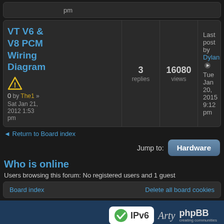pm
VT V6 & V8 PCM Wiring Diagram
0 by The1 » Sat Jan 21, 2012 1:53 pm
3 replies
16080 views
Last post by Dylan Tue Jan 20, 2015 9:12 pm
◄ Return to Board index
Jump to: Hardware
Who is online
Users browsing this forum: No registered users and 1 guest
Board index   Delete all board cookies
[Figure (logo): Footer with IPv6 certified badge, Arty theme logo, and phpBB logo]